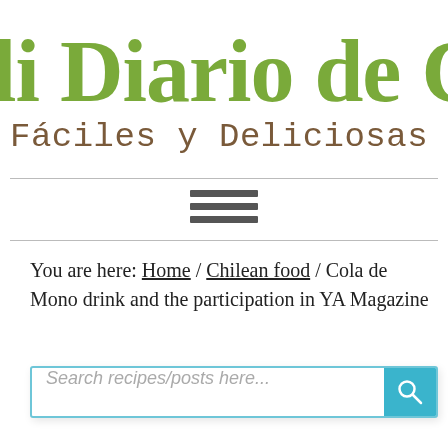li Diario de C
Fáciles y Deliciosas Receta
[Figure (other): Hamburger menu icon with three horizontal lines]
You are here: Home / Chilean food / Cola de Mono drink and the participation in YA Magazine
[Figure (other): Search bar with placeholder 'Search recipes/posts here...' and a teal search button with magnifier icon]